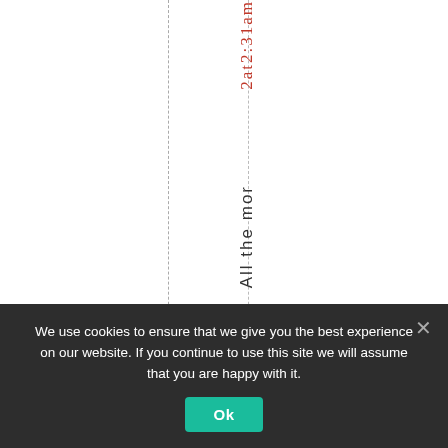2at2:31am
All the mor
We use cookies to ensure that we give you the best experience on our website. If you continue to use this site we will assume that you are happy with it.